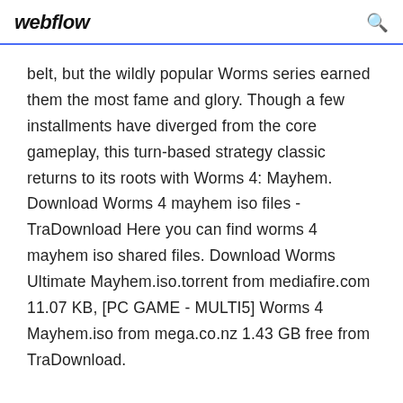webflow
belt, but the wildly popular Worms series earned them the most fame and glory. Though a few installments have diverged from the core gameplay, this turn-based strategy classic returns to its roots with Worms 4: Mayhem. Download Worms 4 mayhem iso files - TraDownload Here you can find worms 4 mayhem iso shared files. Download Worms Ultimate Mayhem.iso.torrent from mediafire.com 11.07 KB, [PC GAME - MULTI5] Worms 4 Mayhem.iso from mega.co.nz 1.43 GB free from TraDownload.